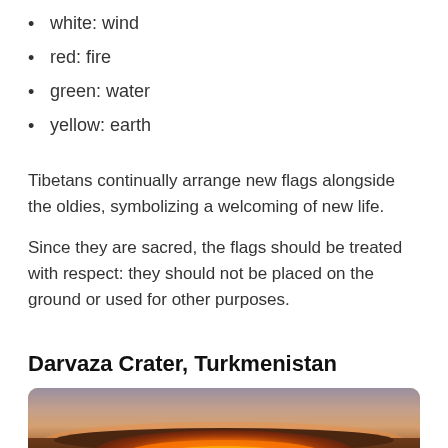white: wind
red: fire
green: water
yellow: earth
Tibetans continually arrange new flags alongside the oldies, symbolizing a welcoming of new life.
Since they are sacred, the flags should be treated with respect: they should not be placed on the ground or used for other purposes.
Darvaza Crater, Turkmenistan
[Figure (photo): A sunset photograph of the Darvaza Crater in Turkmenistan, showing glowing orange lava/fire at the bottom of a large crater with a dusky pink and grey sky above.]